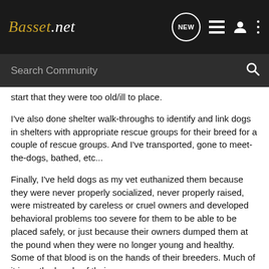Basset.net — navigation bar with logo, NEW button, list icon, user icon, more icon
Search Community
start that they were too old/ill to place.
I've also done shelter walk-throughs to identify and link dogs in shelters with appropriate rescue groups for their breed for a couple of rescue groups. And I've transported, gone to meet-the-dogs, bathed, etc...
Finally, I've held dogs as my vet euthanized them because they were never properly socialized, never properly raised, were mistreated by careless or cruel owners and developed behavioral problems too severe for them to be able to be placed safely, or just because their owners dumped them at the pound when they were no longer young and healthy. Some of that blood is on the hands of their breeders. Much of it is on the hands of their owners.